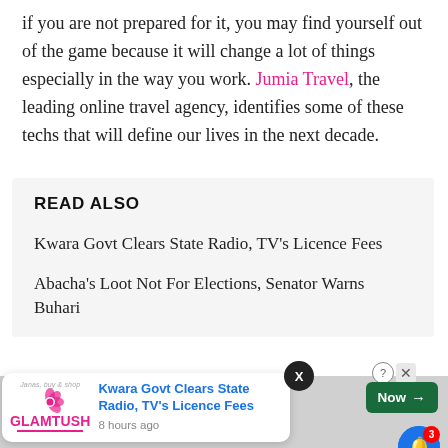if you are not prepared for it, you may find yourself out of the game because it will change a lot of things especially in the way you work. Jumia Travel, the leading online travel agency, identifies some of these techs that will define our lives in the next decade.
READ ALSO
Kwara Govt Clears State Radio, TV's Licence Fees
Abacha's Loot Not For Elections, Senator Warns Buhari
Internet of Things (IoT)
[Figure (screenshot): Bottom overlay UI with X button, GLAMTUSH ad notification card showing 'Kwara Govt Clears State Radio, TV’s Licence Fees - 8 hours ago', a green Now button with arrow, and a blue bell notification icon with badge showing 3.]